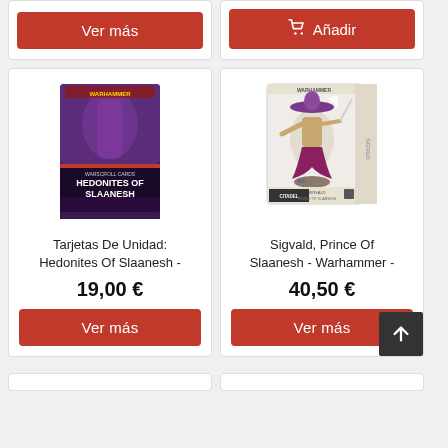[Figure (screenshot): Top-left product card showing Ver más button]
[Figure (screenshot): Top-right product card showing Añadir button]
[Figure (photo): Warhammer Age of Sigmar - Warscroll Cards: Hedonites of Slaanesh product box]
Tarjetas De Unidad: Hedonites Of Slaanesh -
19,00 €
[Figure (photo): Sigvald, Prince of Slaanesh - Warhammer miniature product box]
Sigvald, Prince Of Slaanesh - Warhammer -
40,50 €